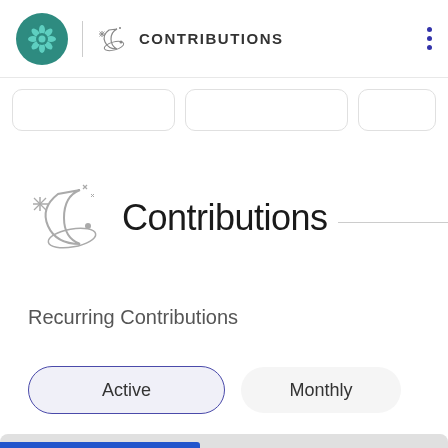CONTRIBUTIONS
Contributions
Recurring Contributions
Active
Monthly